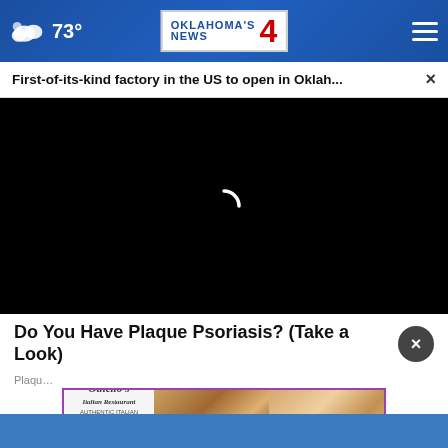73° Oklahoma's News 4
First-of-its-kind factory in the US to open in Oklah... ×
[Figure (screenshot): Black video player area with loading spinner arc in center]
Do You Have Plaque Psoriasis? (Take a Look)
Plaque
[Figure (photo): Othello's Italian Restaurant advertisement with pizza and dessert food photos. Text reads: Othello's Italian Restaurant, ORDER ONLINE NOW!]